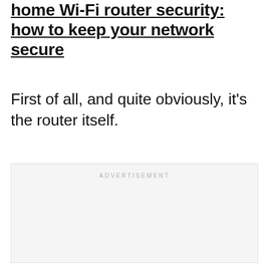home Wi-Fi router security: how to keep your network secure
First of all, and quite obviously, it's the router itself.
[Figure (other): Advertisement placeholder block with light gray background and 'ADVERTISEMENT' label text centered at top]